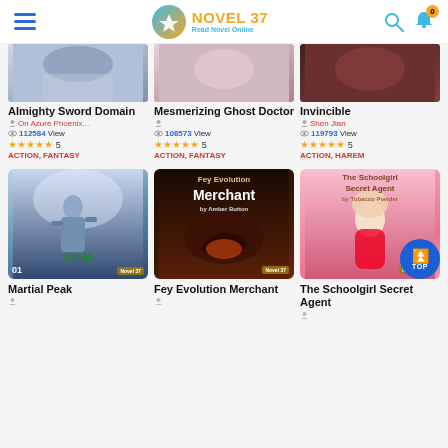NOVEL 37 Read Novel Online
[Figure (screenshot): Partial book cover for Almighty Sword Domain]
Almighty Sword Domain
On Azure Phoenix... | 112584 View | ★★★★★ 5 | ACTION, FANTASY
[Figure (screenshot): Partial book cover for Mesmerizing Ghost Doctor]
Mesmerizing Ghost Doctor
108573 View | ★★★★★ 5 | ACTION, FANTASY
[Figure (screenshot): Partial book cover for Invincible]
Invincible
Shen Jian | 119793 View | ★★★★★ 5 | ACTION, HAREM
[Figure (illustration): Book cover for Martial Peak - shows a martial arts warrior]
Martial Peak
[Figure (illustration): Book cover for Fey Evolution Merchant - dark fantasy with dragon]
Fey Evolution Merchant
[Figure (illustration): Book cover for The Schoolgirl Secret Agent - anime girl on pink background]
The Schoolgirl Secret Agent